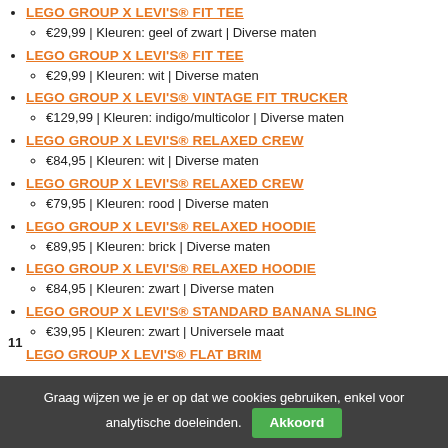LEGO GROUP X LEVI'S® FIT TEE — €29,99 | Kleuren: geel of zwart | Diverse maten
LEGO GROUP X LEVI'S® FIT TEE — €29,99 | Kleuren: wit | Diverse maten
LEGO GROUP X LEVI'S® VINTAGE FIT TRUCKER — €129,99 | Kleuren: indigo/multicolor | Diverse maten
LEGO GROUP X LEVI'S® RELAXED CREW — €84,95 | Kleuren: wit | Diverse maten
LEGO GROUP X LEVI'S® RELAXED CREW — €79,95 | Kleuren: rood | Diverse maten
LEGO GROUP X LEVI'S® RELAXED HOODIE — €89,95 | Kleuren: brick | Diverse maten
LEGO GROUP X LEVI'S® RELAXED HOODIE — €84,95 | Kleuren: zwart | Diverse maten
LEGO GROUP X LEVI'S® STANDARD BANANA SLING — €39,95 | Kleuren: zwart | Universele maat
LEGO GROUP X LEVI'S® FLAT BRIM (partially visible)
11
Graag wijzen we je er op dat we cookies gebruiken, enkel voor analytische doeleinden. Akkoord